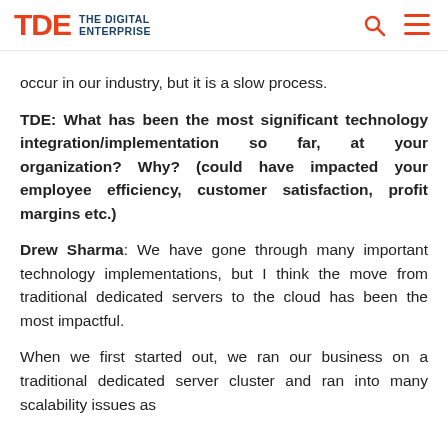THE DIGITAL ENTERPRISE
occur in our industry, but it is a slow process.
TDE: What has been the most significant technology integration/implementation so far, at your organization? Why? (could have impacted your employee efficiency, customer satisfaction, profit margins etc.)
Drew Sharma: We have gone through many important technology implementations, but I think the move from traditional dedicated servers to the cloud has been the most impactful.
When we first started out, we ran our business on a traditional dedicated server cluster and ran into many scalability issues as